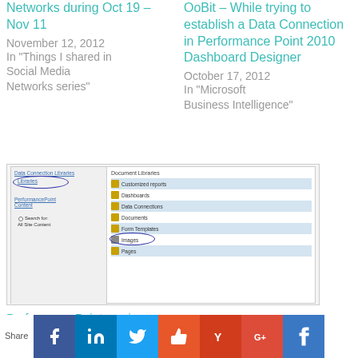Networks during Oct 19 – Nov 11
November 12, 2012
In "Things I shared in Social Media Networks series"
OoBit – While trying to establish a Data Connection in Performance Point 2010 Dashboard Designer
October 17, 2012
In "Microsoft Business Intelligence"
[Figure (screenshot): Screenshot of SharePoint Data Connections Libraries interface showing navigation panel on left with Data Connection Libraries and PerformancePoint Content items, and document library list on right showing Customized Reports, Dashboards, Data Connections (highlighted), Documents, Form Templates, Images (circled), Pages, with folder icons. Two oval annotations in blue highlighting Library and Images items.]
PerformancePoint services: changing the Title and Logo in the Dashboard
October 25, 2012
In "Microsoft Business Intelligence"
[Figure (infographic): Social sharing footer bar with icons for Facebook, LinkedIn, Twitter, Thumbs up, Yammer, Google+, and WhatsApp/other service]